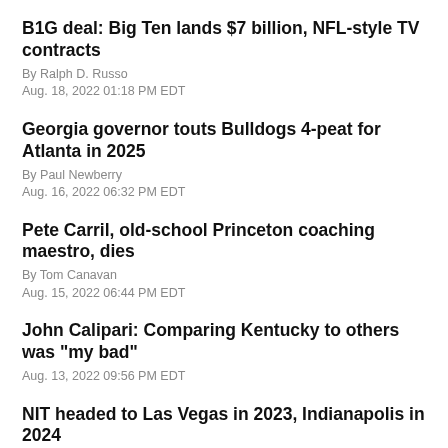B1G deal: Big Ten lands $7 billion, NFL-style TV contracts
By Ralph D. Russo
Aug. 18, 2022 01:18 PM EDT
Georgia governor touts Bulldogs 4-peat for Atlanta in 2025
By Paul Newberry
Aug. 16, 2022 06:32 PM EDT
Pete Carril, old-school Princeton coaching maestro, dies
By Tom Canavan
Aug. 15, 2022 06:44 PM EDT
John Calipari: Comparing Kentucky to others was "my bad"
Aug. 13, 2022 09:56 PM EDT
NIT headed to Las Vegas in 2023, Indianapolis in 2024